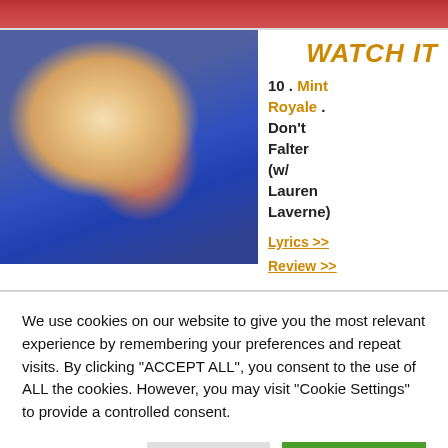[Figure (photo): Top strip showing partial photo with red/pink tones at the top of the page]
WATCH IT
[Figure (photo): Close-up side profile photo of a blonde woman with eyes closed, against a blue/purple background]
10 . Mint Royale . Don't Falter (w/ Lauren Laverne)
Lyrics >>
Review >>
We use cookies on our website to give you the most relevant experience by remembering your preferences and repeat visits. By clicking "ACCEPT ALL", you consent to the use of ALL the cookies. However, you may visit "Cookie Settings" to provide a controlled consent.
Cookie Settings
REJECT ALL
ACCEPT ALL